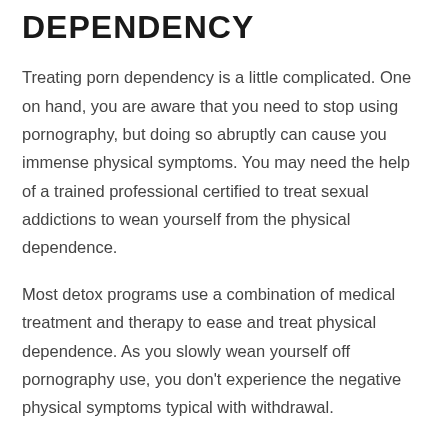DEPENDENCY
Treating porn dependency is a little complicated. One on hand, you are aware that you need to stop using pornography, but doing so abruptly can cause you immense physical symptoms. You may need the help of a trained professional certified to treat sexual addictions to wean yourself from the physical dependence.
Most detox programs use a combination of medical treatment and therapy to ease and treat physical dependence. As you slowly wean yourself off pornography use, you don't experience the negative physical symptoms typical with withdrawal.